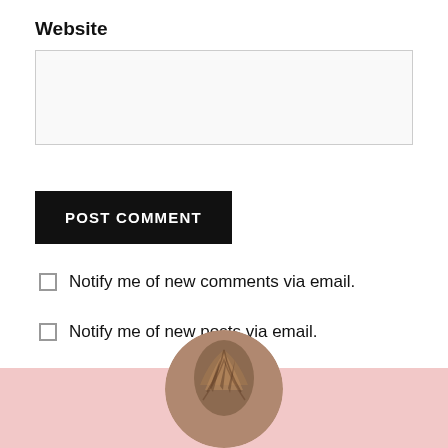Website
POST COMMENT
Notify me of new comments via email.
Notify me of new posts via email.
[Figure (photo): Circular cropped photo of a person with braided hair, shown from above/behind, against a pink background. Only the top portion of the circle is visible.]